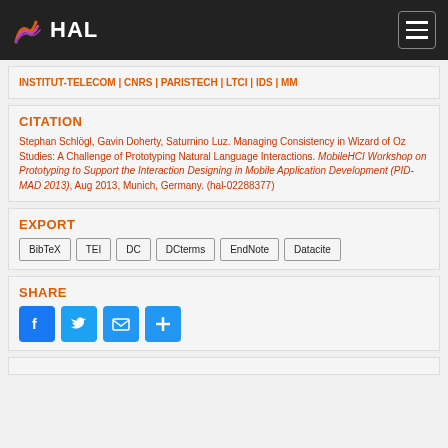HAL
INSTITUT-TELECOM | CNRS | PARISTECH | LTCI | IDS | MM
CITATION
Stephan Schlögl, Gavin Doherty, Saturnino Luz. Managing Consistency in Wizard of Oz Studies: A Challenge of Prototyping Natural Language Interactions. MobileHCI Workshop on Prototyping to Support the Interaction Designing in Mobile Application Development (PID-MAD 2013), Aug 2013, Munich, Germany. (hal-02288377)
EXPORT
BibTeX
TEI
DC
DCterms
EndNote
Datacite
SHARE